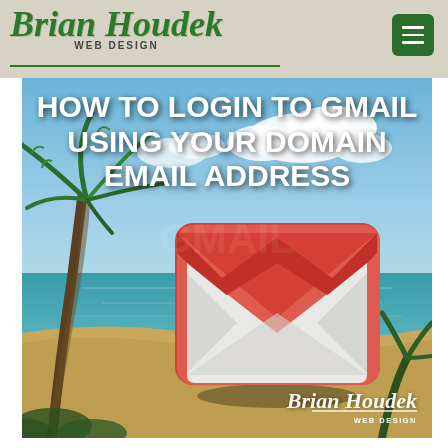Brian Houdek WEB DESIGN
[Figure (illustration): Beach scene with palm trees, ocean, and sky background with Gmail logo and title text overlay. Bottom right corner has Brian Houdek Web Design watermark logo.]
HOW TO LOGIN TO GMAIL USING YOUR DOMAIN EMAIL ADDRESS